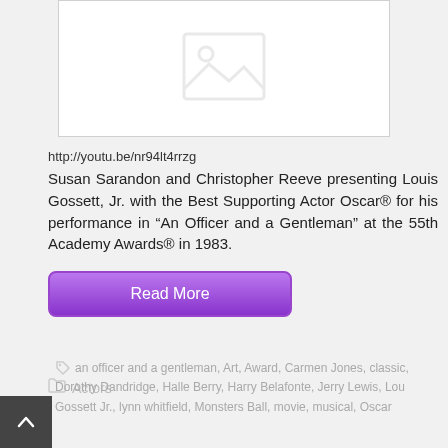[Figure (illustration): Image placeholder with mountain/photo icon on white background with grey border]
http://youtu.be/nr94lt4rrzg
Susan Sarandon and Christopher Reeve presenting Louis Gossett, Jr. with the Best Supporting Actor Oscar® for his performance in “An Officer and a Gentleman” at the 55th Academy Awards® in 1983.
Read More
Actors
an officer and a gentleman, Art, Award, Carmen Jones, classic, Dorothy Dandridge, Halle Berry, Harry Belafonte, Jerry Lewis, Lou Gossett Jr., lynn whitfield, Monsters Ball, movie, musical, Oscar